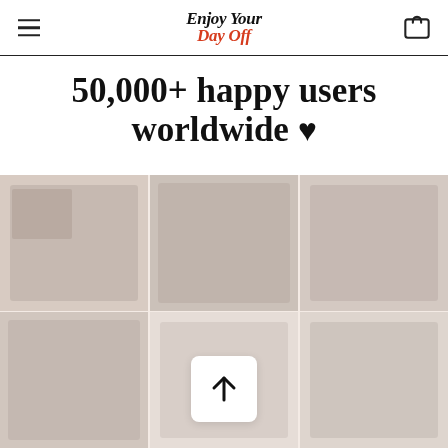Enjoy Your Day Off
50,000+ happy users worldwide ♥
[Figure (photo): Blurred collage of product/lifestyle photos arranged in a grid, with a white up-arrow button overlaid in the center-bottom area]